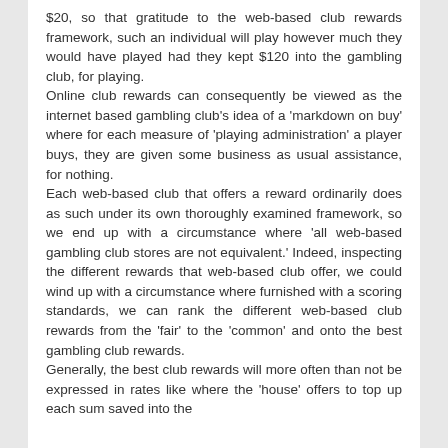$20, so that gratitude to the web-based club rewards framework, such an individual will play however much they would have played had they kept $120 into the gambling club, for playing. Online club rewards can consequently be viewed as the internet based gambling club's idea of a 'markdown on buy' where for each measure of 'playing administration' a player buys, they are given some business as usual assistance, for nothing. Each web-based club that offers a reward ordinarily does as such under its own thoroughly examined framework, so we end up with a circumstance where 'all web-based gambling club stores are not equivalent.' Indeed, inspecting the different rewards that web-based club offer, we could wind up with a circumstance where furnished with a scoring standards, we can rank the different web-based club rewards from the 'fair' to the 'common' and onto the best gambling club rewards. Generally, the best club rewards will more often than not be expressed in rates like where the 'house' offers to top up each sum saved into the